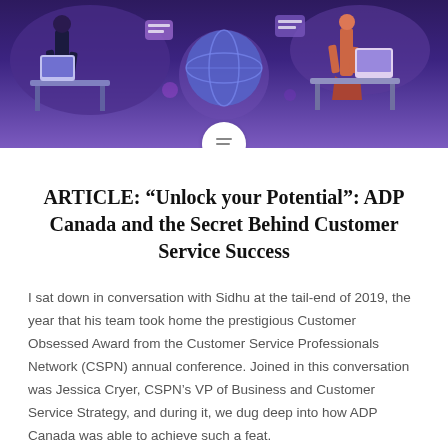[Figure (illustration): Colorful illustrated banner with dark purple/violet background showing stylized figures working at desks and computers, with abstract shapes and a globe-like element]
ARTICLE: “Unlock your Potential”: ADP Canada and the Secret Behind Customer Service Success
I sat down in conversation with Sidhu at the tail-end of 2019, the year that his team took home the prestigious Customer Obsessed Award from the Customer Service Professionals Network (CSPN) annual conference. Joined in this conversation was Jessica Cryer, CSPN’s VP of Business and Customer Service Strategy, and during it, we dug deep into how ADP Canada was able to achieve such a feat.